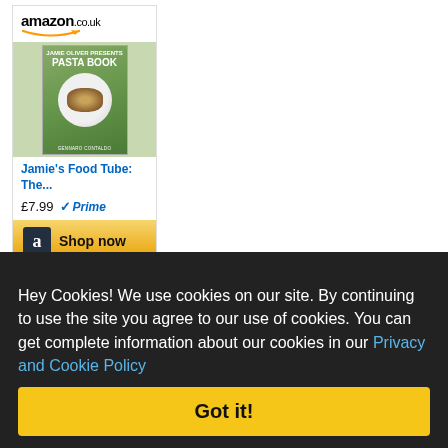[Figure (screenshot): Amazon.co.uk product widget showing 'Jamie's Food Tube: The...' book priced at £7.99 with Prime badge and 'Shop now' button]
Hey Cookies! We use cookies on our site. By continuing to use the site you agree to our use of cookies. You can get complete information about our cookies in our Privacy and Cookie Policy
Got it!